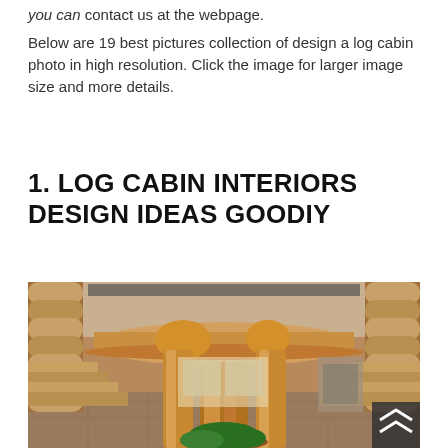you can contact us at the webpage.
Below are 19 best pictures collection of design a log cabin photo in high resolution. Click the image for larger image size and more details.
1. LOG CABIN INTERIORS DESIGN IDEAS GOODIY
[Figure (photo): Interior of a luxury log cabin showing a grand circular balcony supported by massive carved tree trunk pillars, with log walls, stone fireplace visible in background, staircases on both sides, and a decorative plant arrangement at base of central pillars.]